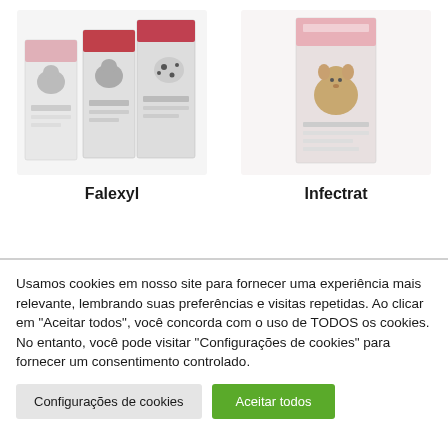[Figure (photo): Product photo of Falexyl veterinary medication boxes showing dogs on packaging]
Falexyl
[Figure (photo): Product photo of Infectrat veterinary medication box showing a small dog on packaging]
Infectrat
Usamos cookies em nosso site para fornecer uma experiência mais relevante, lembrando suas preferências e visitas repetidas. Ao clicar em "Aceitar todos", você concorda com o uso de TODOS os cookies. No entanto, você pode visitar "Configurações de cookies" para fornecer um consentimento controlado.
Configurações de cookies
Aceitar todos